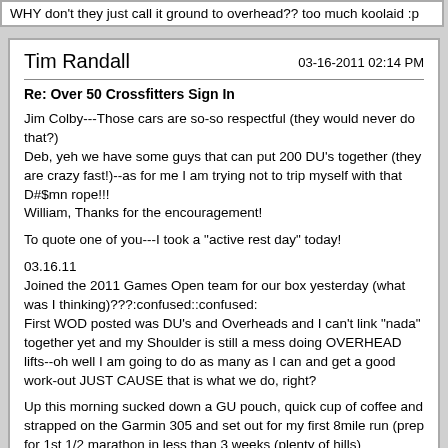WHY don't they just call it ground to overhead?? too much koolaid :p
Tim Randall
03-16-2011 02:14 PM
Re: Over 50 Crossfitters Sign In
Jim Colby---Those cars are so-so respectful (they would never do that?)
Deb, yeh we have some guys that can put 200 DU's together (they are crazy fast!)--as for me I am trying not to trip myself with that D#$mn rope!!!
William, Thanks for the encouragement!

To quote one of you---I took a "active rest day" today!

03.16.11
Joined the 2011 Games Open team for our box yesterday (what was I thinking)???:confused::confused:
First WOD posted was DU's and Overheads and I can't link "nada" together yet and my Shoulder is still a mess doing OVERHEAD lifts--oh well I am going to do as many as I can and get a good work-out JUST CAUSE that is what we do, right?

Up this morning sucked down a GU pouch, quick cup of coffee and strapped on the Garmin 305 and set out for my first 8mile run (prep for 1st 1/2 marathon in less than 3 weeks (plenty of hills) 40+degrees and light rain----perfect:D
(I had planned out a route that started off with 1mile flat (to settle in on a pace) and then "promptly forgot to start the clock":mad: so started